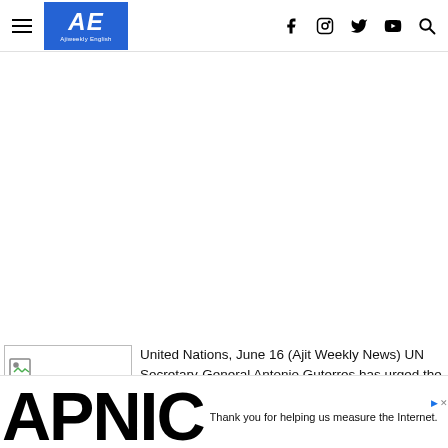AE Ajiweekly English — navigation bar with hamburger menu, logo, and social icons (Facebook, Instagram, Twitter, YouTube, Search)
[Figure (photo): Broken/placeholder image thumbnail on left side of article]
United Nations, June 16 (Ajit Weekly News) UN Secretary-General Antonio Guterres has urged the international community to protect and promote women's rights amid
Thank you for helping us measure the Internet.